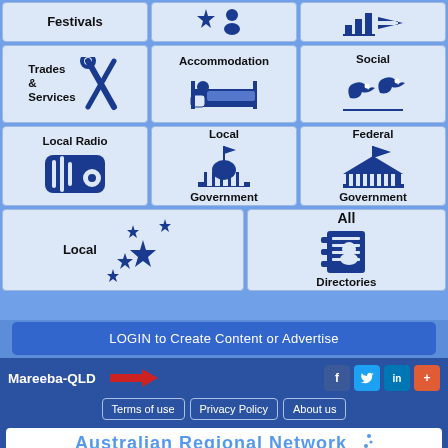[Figure (infographic): Navigation grid with icons: Festivals, star/person/chart icons, Trades & Services, Accommodation, Social, Local Radio, Local Government, Federal Government, Local (Australia stars), All Directories]
LOGIN to Create Content or Advertise
Mareeba-QLD
[Figure (infographic): Red arrow pointing right, social icons: f, Twitter bird, in, plus]
Terms of use
Privacy Policy
About us
Australian Regional Network